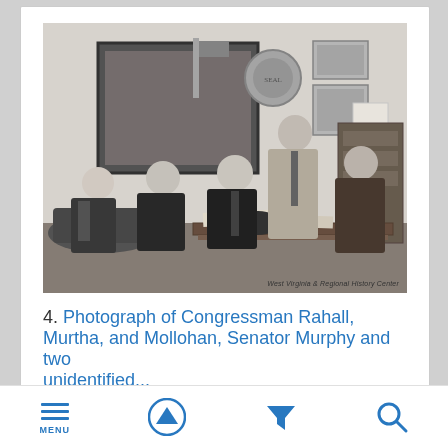[Figure (photo): Black and white photograph of six men seated and standing in an office setting. The men are dressed in suits. Office decor visible in the background including framed pictures and a flag. A coffee table with papers is in the foreground. Watermark reads: West Virginia & Regional History Center.]
4. Photograph of Congressman Rahall, Murtha, and Mollohan, Senator Murphy and two unidentified...
MENU (navigation icons: menu, up arrow, filter, search)